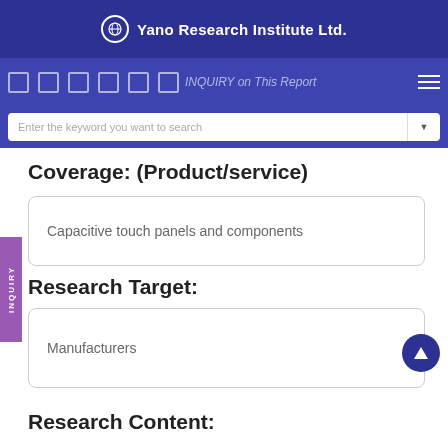[Figure (logo): Yano Research Institute Ltd. logo with white globe icon on dark blue background]
Yano Research Institute Ltd.
Coverage: (Product/service)
Capacitive touch panels and components
Research Target:
Manufacturers
Research Content: